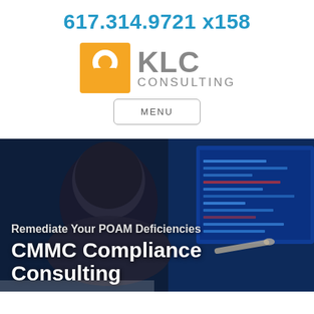617.314.9721 x158
[Figure (logo): KLC Consulting logo: orange square with white circle cutout on left, gray 'KLC' text and 'CONSULTING' text on right]
MENU
[Figure (photo): Person viewed from behind sitting at computer with blue-lit coding screens, dark background]
Remediate Your POAM Deficiencies
CMMC Compliance Consulting